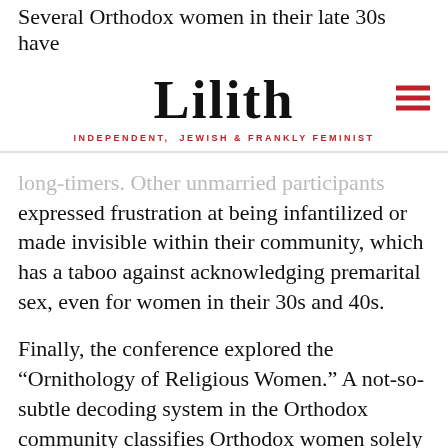Several Orthodox women in their late 30s have
Lilith
INDEPENDENT, JEWISH & FRANKLY FEMINIST
…long-timers. Other unmarried participants expressed frustration at being infantilized or made invisible within their community, which has a taboo against acknowledging premarital sex, even for women in their 30s and 40s.
Finally, the conference explored the “Ornithology of Religious Women.” A not-so-subtle decoding system in the Orthodox community classifies Orthodox women solely on how they are dressed, encouraging assumptions (often false) about social